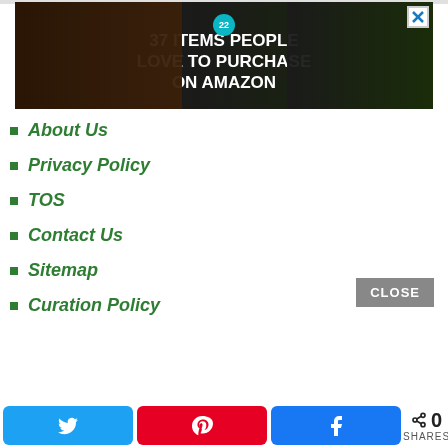[Figure (illustration): Advertisement banner: dark background with knives and food items, badge showing '22', text '37 ITEMS PEOPLE LOVE TO PURCHASE ON AMAZON', with close (X) button in top right]
About Us
Privacy Policy
TOS
Contact Us
Sitemap
Curation Policy
0 SHARES — Twitter, Pinterest, Facebook share buttons